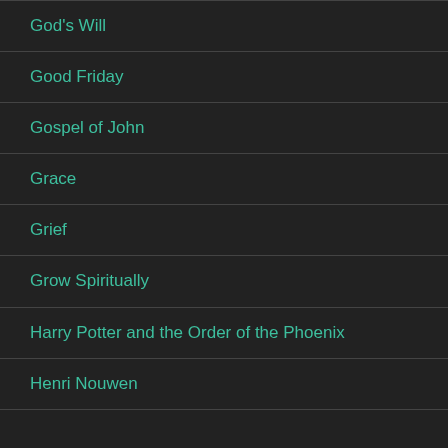God's Will
Good Friday
Gospel of John
Grace
Grief
Grow Spiritually
Harry Potter and the Order of the Phoenix
Henri Nouwen